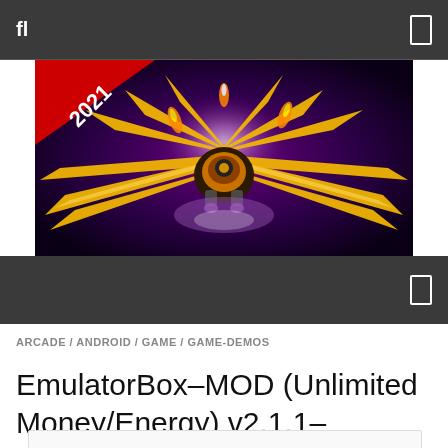fl  [icon]
[Figure (screenshot): Game banner image showing a space shooter with golden wings, labeled '2021' in a red triangle on the top-left corner, dark purple background with colorful explosions and a robotic/spaceship character in the center]
[icon]
ARCADE / ANDROID / GAME / GAME-DEMOS
EmulatorBox–MOD (Unlimited Money/Energy) v2.1.1–